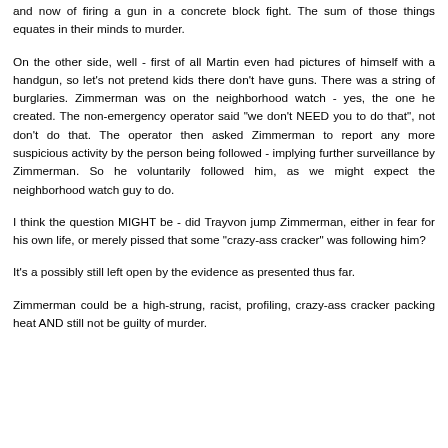and now of firing a gun in a concrete block fight. The sum of those things equates in their minds to murder.
On the other side, well - first of all Martin even had pictures of himself with a handgun, so let's not pretend kids there don't have guns. There was a string of burglaries. Zimmerman was on the neighborhood watch - yes, the one he created. The non-emergency operator said "we don't NEED you to do that", not don't do that. The operator then asked Zimmerman to report any more suspicious activity by the person being followed - implying further surveillance by Zimmerman. So he voluntarily followed him, as we might expect the neighborhood watch guy to do.
I think the question MIGHT be - did Trayvon jump Zimmerman, either in fear for his own life, or merely pissed that some "crazy-ass cracker" was following him?
It's a possibly still left open by the evidence as presented thus far.
Zimmerman could be a high-strung, racist, profiling, crazy-ass cracker packing heat AND still not be guilty of murder.